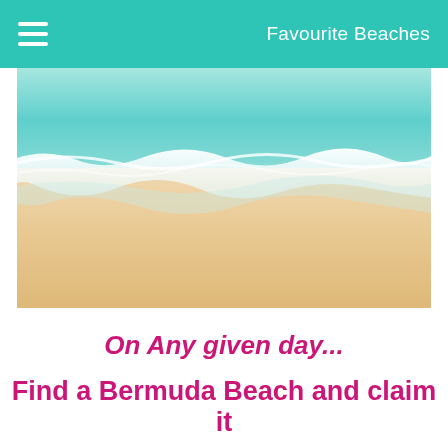Favourite Beaches
[Figure (photo): Beach scene showing turquoise ocean waves washing onto sandy shore]
On Any given day...
Find a Bermuda Beach and claim it